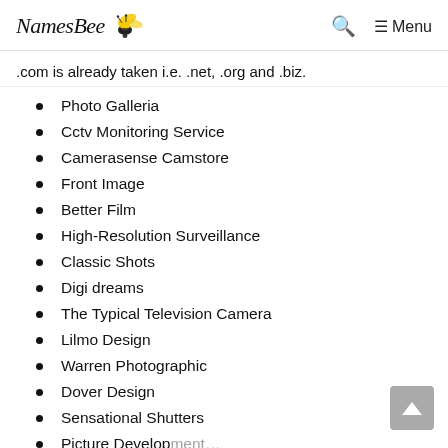NamesBee — Menu
.com is already taken i.e. .net, .org and .biz.
Photo Galleria
Cctv Monitoring Service
Camerasense Camstore
Front Image
Better Film
High-Resolution Surveillance
Classic Shots
Digi dreams
The Typical Television Camera
Lilmo Design
Warren Photographic
Dover Design
Sensational Shutters
Picture Development…